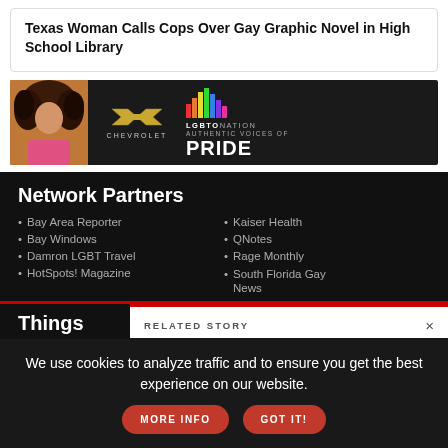Texas Woman Calls Cops Over Gay Graphic Novel in High School Library
[Figure (photo): Chevrolet LGBTO Nation Authentic Voices of PRIDE advertisement banner with a woman with large curly hair, Chevrolet bowtie logo, colorful bar graph graphic, and text LGBTO NATION AUTHENTIC VOICES OF PRIDE]
Network Partners
Bay Area Reporter
Bay Windows
Damron LGBT Travel
HotSpots! Magazine
Kaiser Health
QNotes
Rage Monthly
South Florida Gay News
Things
RELATED STORY
We use cookies to analyze traffic and to ensure you get the best experience on our website.
MORE INFO
GOT IT!